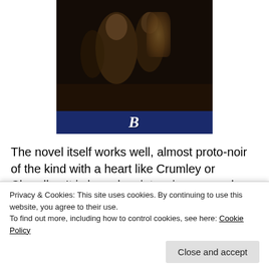[Figure (illustration): A dark painting depicting figures in period costume, possibly Victorian or earlier era, in a dimly lit scene]
[Figure (logo): Publisher logo: a dark blue/navy bar with a white letter B in serif italic font]
The novel itself works well, almost proto-noir of the kind with a heart like Crumley or Chandler. It is based on intensive research — while Morrison came from the working-class East End, it was very different from the streets and courts of the Old Nichol described here under a different name. He turned to Father Jay Sturt, who had established a parish there and f[...]a [... partial lines obscured by cookie banner ...] t[...] c[...] f[...] visited homes, drank in pubs, listened to stories, learned to
Privacy & Cookies: This site uses cookies. By continuing to use this website, you agree to their use.
To find out more, including how to control cookies, see here: Cookie Policy
Close and accept